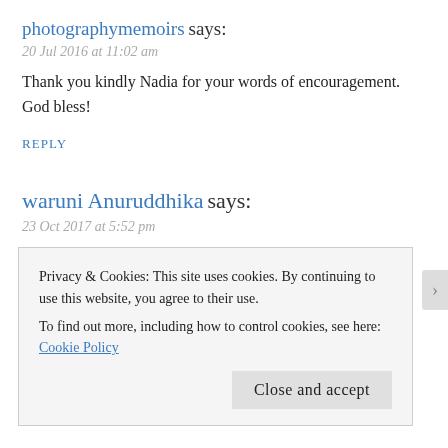photographymemoirs says:
20 Jul 2016 at 11:02 am
Thank you kindly Nadia for your words of encouragement. God bless!
REPLY
waruni Anuruddhika says:
23 Oct 2017 at 5:52 pm
It is always pleasure to meet up with such beautiful human being !
REPLY
Privacy & Cookies: This site uses cookies. By continuing to use this website, you agree to their use. To find out more, including how to control cookies, see here: Cookie Policy
Close and accept